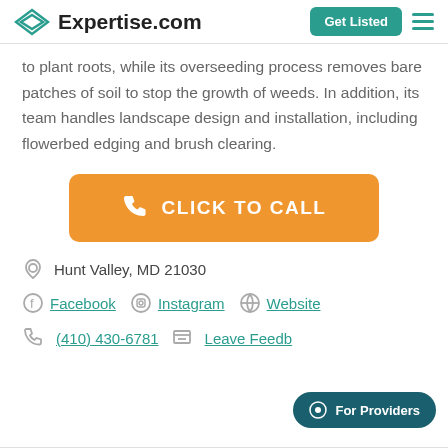Expertise.com — Get Listed
to plant roots, while its overseeding process removes bare patches of soil to stop the growth of weeds. In addition, its team handles landscape design and installation, including flowerbed edging and brush clearing.
[Figure (other): Orange button with phone icon reading CLICK TO CALL]
Hunt Valley, MD 21030
Facebook  Instagram  Website
(410) 430-6781  Leave Feedback
For Providers